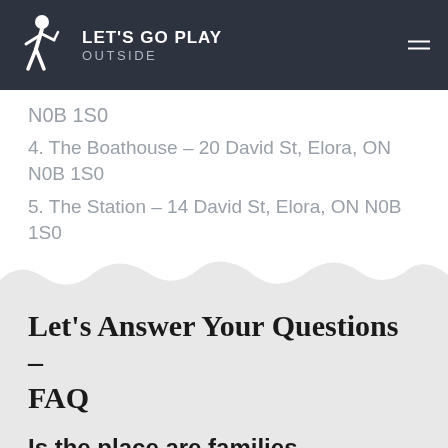LET'S GO PLAY OUTSIDE
N0B 1S0
4. The Boathouse – 20 David St, Elora, ON N0B 1S0
5. The Station – 14 David St, Elora, ON N0B 1S0
Let's Answer Your Questions – FAQ
Is the place are families friendly?